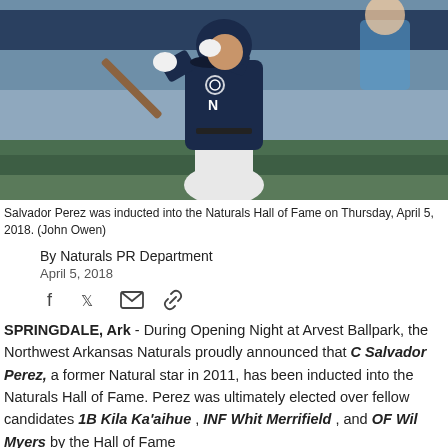[Figure (photo): Baseball player in navy Northwest Arkansas Naturals uniform swinging a bat at Arvest Ballpark]
Salvador Perez was inducted into the Naturals Hall of Fame on Thursday, April 5, 2018. (John Owen)
By Naturals PR Department
April 5, 2018
[Figure (other): Social sharing icons: Facebook, Twitter, Email, Link]
SPRINGDALE, Ark - During Opening Night at Arvest Ballpark, the Northwest Arkansas Naturals proudly announced that C Salvador Perez, a former Natural star in 2011, has been inducted into the Naturals Hall of Fame. Perez was ultimately elected over fellow candidates 1B Kila Ka'aihue , INF Whit Merrifield , and OF Wil Myers by the Hall of Fame